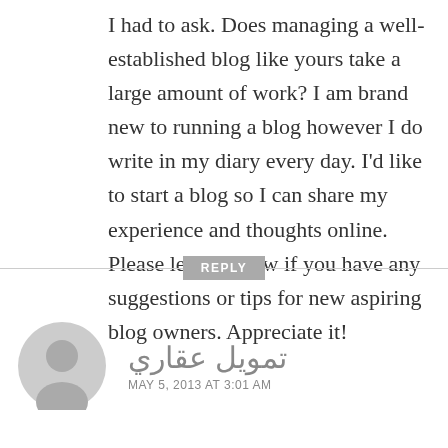I had to ask. Does managing a well-established blog like yours take a large amount of work? I am brand new to running a blog however I do write in my diary every day. I'd like to start a blog so I can share my experience and thoughts online. Please let me know if you have any suggestions or tips for new aspiring blog owners. Appreciate it!
REPLY
[Figure (illustration): Generic grey user avatar silhouette icon]
تمويل عقاري
MAY 5, 2013 AT 3:01 AM